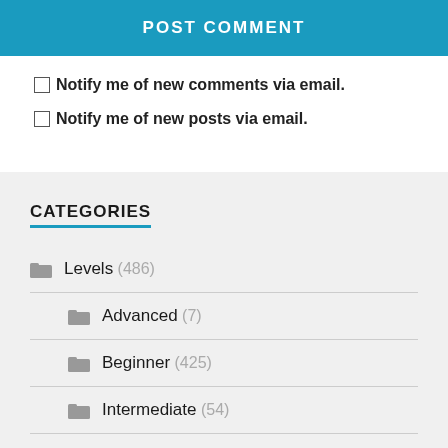POST COMMENT
Notify me of new comments via email.
Notify me of new posts via email.
CATEGORIES
Levels (486)
Advanced (7)
Beginner (425)
Intermediate (54)
Other (267)